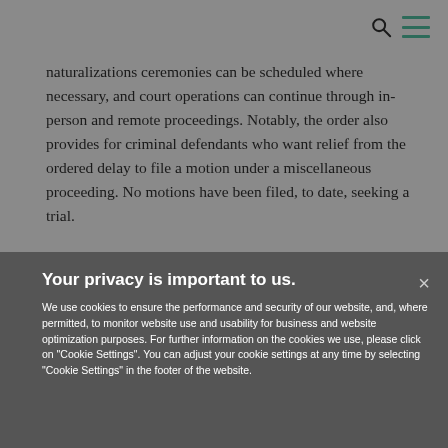naturalizations ceremonies can be scheduled where necessary, and court operations can continue through in-person and remote proceedings. Notably, the order also provides for criminal defendants who want relief from the ordered delay to file a motion under a miscellaneous proceeding. No motions have been filed, to date, seeking a trial.
Your privacy is important to us.
We use cookies to ensure the performance and security of our website, and, where permitted, to monitor website use and usability for business and website optimization purposes. For further information on the cookies we use, please click on "Cookie Settings". You can adjust your cookie settings at any time by selecting "Cookie Settings" in the footer of the website.